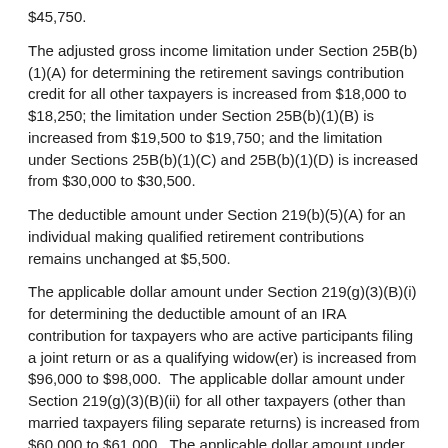$45,750.
The adjusted gross income limitation under Section 25B(b)(1)(A) for determining the retirement savings contribution credit for all other taxpayers is increased from $18,000 to $18,250; the limitation under Section 25B(b)(1)(B) is increased from $19,500 to $19,750; and the limitation under Sections 25B(b)(1)(C) and 25B(b)(1)(D) is increased from $30,000 to $30,500.
The deductible amount under Section 219(b)(5)(A) for an individual making qualified retirement contributions remains unchanged at $5,500.
The applicable dollar amount under Section 219(g)(3)(B)(i) for determining the deductible amount of an IRA contribution for taxpayers who are active participants filing a joint return or as a qualifying widow(er) is increased from $96,000 to $98,000.  The applicable dollar amount under Section 219(g)(3)(B)(ii) for all other taxpayers (other than married taxpayers filing separate returns) is increased from $60,000 to $61,000.  The applicable dollar amount under Section 219(g)(3)(B)(iii) for a married individual filing a separate return is not subject to an annual cost-of-living adjustment and remains $0.  The applicable dollar